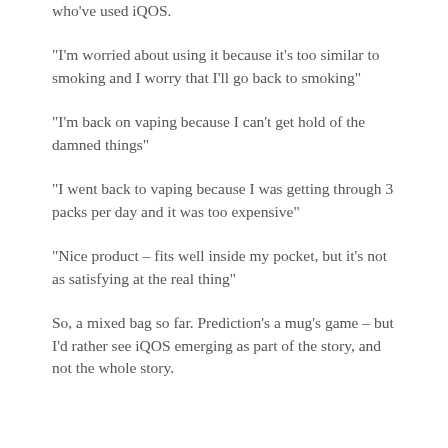who've used iQOS.
“I’m worried about using it because it’s too similar to smoking and I worry that I’ll go back to smoking”
“I’m back on vaping because I can’t get hold of the damned things”
“I went back to vaping because I was getting through 3 packs per day and it was too expensive”
“Nice product – fits well inside my pocket, but it’s not as satisfying at the real thing”
So, a mixed bag so far. Prediction’s a mug’s game – but I’d rather see iQOS emerging as part of the story, and not the whole story.